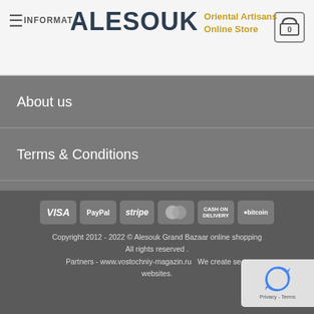ALESOUK Oriental Artisans Online Store
About us
Terms & Conditions
Privacy Policy
ALESOUK “BLOGS”
Sitemap
Copyright 2012 - 2022 © Alesouk Grand Bazaar online shopping. All rights reserved . Partners - www.vostochniy-magazin.ru We create se... websites.